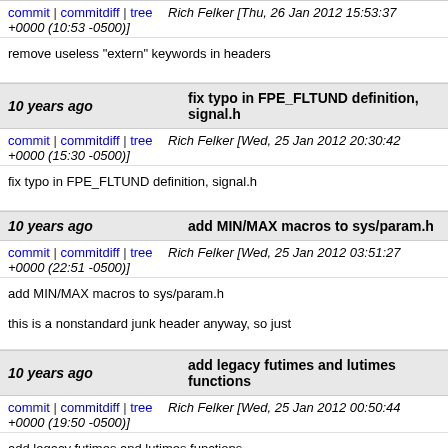commit | commitdiff | tree   Rich Felker [Thu, 26 Jan 2012 15:53:37 +0000 (10:53 -0500)]
remove useless "extern" keywords in headers
10 years ago   fix typo in FPE_FLTUND definition, signal.h
commit | commitdiff | tree   Rich Felker [Wed, 25 Jan 2012 20:30:42 +0000 (15:30 -0500)]
fix typo in FPE_FLTUND definition, signal.h
10 years ago   add MIN/MAX macros to sys/param.h
commit | commitdiff | tree   Rich Felker [Wed, 25 Jan 2012 03:51:27 +0000 (22:51 -0500)]
add MIN/MAX macros to sys/param.h
this is a nonstandard junk header anyway, so just
10 years ago   add legacy futimes and lutimes functions
commit | commitdiff | tree   Rich Felker [Wed, 25 Jan 2012 00:50:44 +0000 (19:50 -0500)]
add legacy futimes and lutimes functions